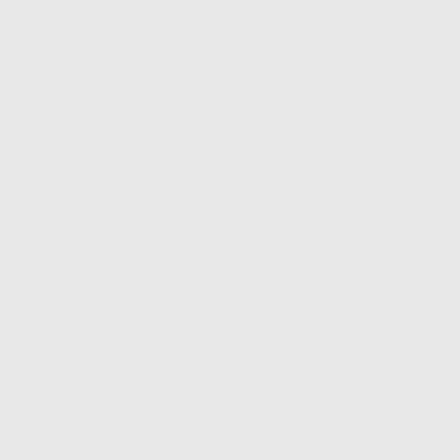deceptive transactions to move forward with A...
In my opinion, Level 3 needs to buy another k... cares about advice from the Republicans.
Reply
LEAVE A COMMENT
You may Log In to post a comment, or fill i... anonymously.
[Figure (screenshot): Web comment form with Name, Email, Website input fields, a text area for the comment, and a Submit button.]